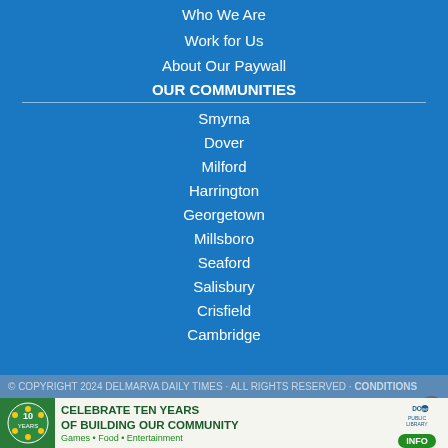Who We Are
Work for Us
About Our Paywall
OUR COMMUNITIES
Smyrna
Dover
Milford
Harrington
Georgetown
Millsboro
Seaford
Salisbury
Crisfield
Cambridge
© COPYRIGHT 2024 DELMARVA DAILY TIMES · ALL RIGHTS RESERVED
[Figure (infographic): Advertisement banner for Dover Public Library: CELEBRATE TEN YEARS OF BUILDING OUR COMMUNITY. Games • Food • Entertainment. INFO button. 10 years logo on left.]